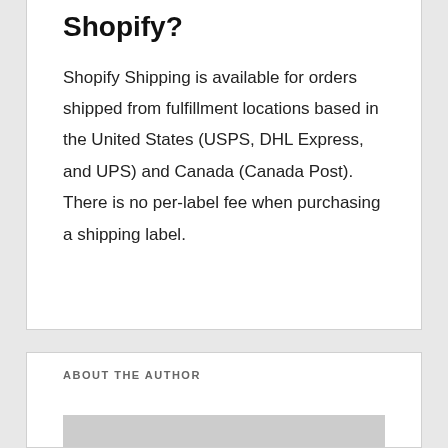Shopify?
Shopify Shipping is available for orders shipped from fulfillment locations based in the United States (USPS, DHL Express, and UPS) and Canada (Canada Post). There is no per-label fee when purchasing a shipping label.
ABOUT THE AUTHOR